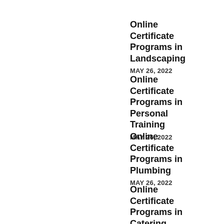Online Certificate Programs in Landscaping
MAY 26, 2022
Online Certificate Programs in Personal Training
MAY 26, 2022
Online Certificate Programs in Plumbing
MAY 26, 2022
Online Certificate Programs in Catering
MAY 26, 2022